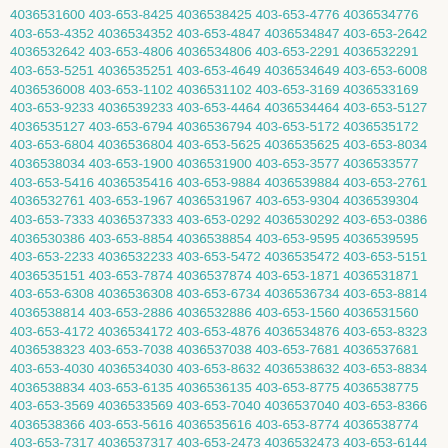4036531600 403-653-8425 4036538425 403-653-4776 4036534776 403-653-4352 4036534352 403-653-4847 4036534847 403-653-2642 4036532642 403-653-4806 4036534806 403-653-2291 4036532291 403-653-5251 4036535251 403-653-4649 4036534649 403-653-6008 4036536008 403-653-1102 4036531102 403-653-3169 4036533169 403-653-9233 4036539233 403-653-4464 4036534464 403-653-5127 4036535127 403-653-6794 4036536794 403-653-5172 4036535172 403-653-6804 4036536804 403-653-5625 4036535625 403-653-8034 4036538034 403-653-1900 4036531900 403-653-3577 4036533577 403-653-5416 4036535416 403-653-9884 4036539884 403-653-2761 4036532761 403-653-1967 4036531967 403-653-9304 4036539304 403-653-7333 4036537333 403-653-0292 4036530292 403-653-0386 4036530386 403-653-8854 4036538854 403-653-9595 4036539595 403-653-2233 4036532233 403-653-5472 4036535472 403-653-5151 4036535151 403-653-7874 4036537874 403-653-1871 4036531871 403-653-6308 4036536308 403-653-6734 4036536734 403-653-8814 4036538814 403-653-2886 4036532886 403-653-1560 4036531560 403-653-4172 4036534172 403-653-4876 4036534876 403-653-8323 4036538323 403-653-7038 4036537038 403-653-7681 4036537681 403-653-4030 4036534030 403-653-8632 4036538632 403-653-8834 4036538834 403-653-6135 4036536135 403-653-8775 4036538775 403-653-3569 4036533569 403-653-7040 4036537040 403-653-8366 4036538366 403-653-5616 4036535616 403-653-8774 4036538774 403-653-7317 4036537317 403-653-2473 4036532473 403-653-6144 4036536144 403-653-6987 4036536987 403-653-9876 4036539876 403-653-8348 4036538348 403-653-5678 4036535678 403-653-5520 4036535520 403-653-2486 4036532486 403-653-2477 4036532477 403-